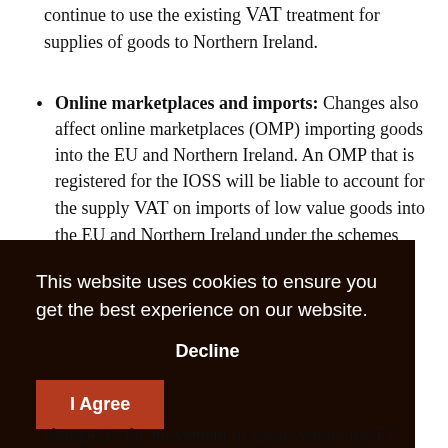continue to use the existing VAT treatment for supplies of goods to Northern Ireland.
Online marketplaces and imports: Changes also affect online marketplaces (OMP) importing goods into the EU and Northern Ireland. An OMP that is registered for the IOSS will be liable to account for the supply VAT on imports of low value goods into the EU and Northern Ireland under the schemes rules. For imports into
[Figure (screenshot): Cookie consent banner overlay with dark brown background. Text reads: 'This website uses cookies to ensure you get the best experience on our website.' Below is a 'Decline' button (text only) and an 'I Agree' button with red background.]
changes to the movement of goods within the EU.